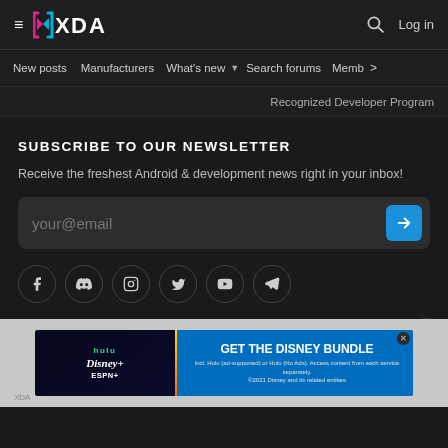XDA Developers - hamburger menu, logo, search, Log in
New posts  Manufacturers  What's new  Search forums  Members  >
Recognized Developer Program
SUBSCRIBE TO OUR NEWSLETTER
Receive the freshest Android & development news right in your inbox!
your@email
[Figure (infographic): Social media icons row: Facebook, Discord, Instagram, Twitter, YouTube, Telegram]
[Figure (infographic): Disney Bundle advertisement banner showing Hulu, Disney+, ESPN+ logos with GET THE DISNEY BUNDLE CTA and fine print]